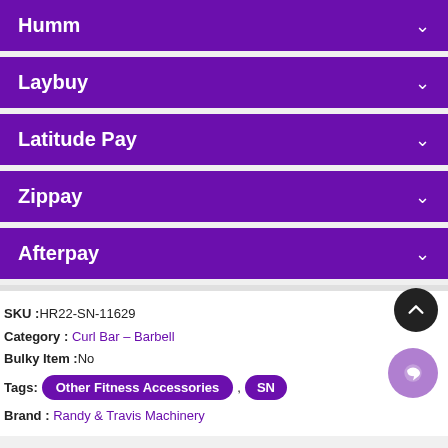Humm
Laybuy
Latitude Pay
Zippay
Afterpay
SKU : HR22-SN-11629
Category : Curl Bar – Barbell
Bulky Item : No
Tags: Other Fitness Accessories , SN
Brand : Randy & Travis Machinery